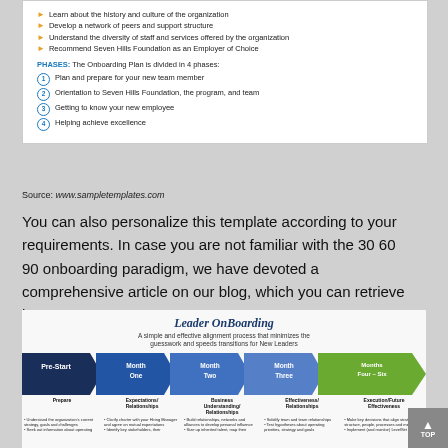Learn about the history and culture of the organization
Develop a network of peers and support structure
Understand the diversity of staff and services offered by the organization
Recommend Seven Hills Foundation as an Employer of Choice
PHASES: The Onboarding Plan is divided in 4 phases:
1. Plan and prepare for your new team member
2. Orientation to Seven Hills Foundation, the program, and team
3. Getting to know your new employee
4. Helping achieve excellence
Source: www.sampletemplates.com
You can also personalize this template according to your requirements. In case you are not familiar with the 30 60 90 onboarding paradigm, we have devoted a comprehensive article on our blog, which you can retrieve here:
[Figure (infographic): Leader OnBoarding infographic showing a process flow with five chevron/arrow stages: Pre-Start (dark blue), Month One (blue), Month Two (medium blue), Month Three (medium blue/purple), Months Four-Six (green). Below each stage are labels and bullet points: Prepare / Expectations-Relationships / Business Understanding-Relationships / Effectiveness-Relationships / Execution-Future Effectiveness. Subtitle: A simple and effective alignment process that minimizes the guesswork and speeds transitions for New Leaders.]